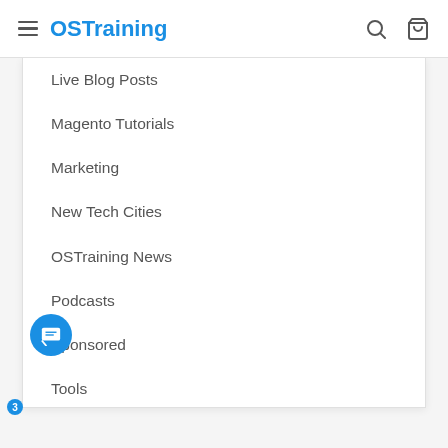OSTraining
Live Blog Posts
Magento Tutorials
Marketing
New Tech Cities
OSTraining News
Podcasts
Sponsored
Tools
Web Design
WooCommerce
WordPress